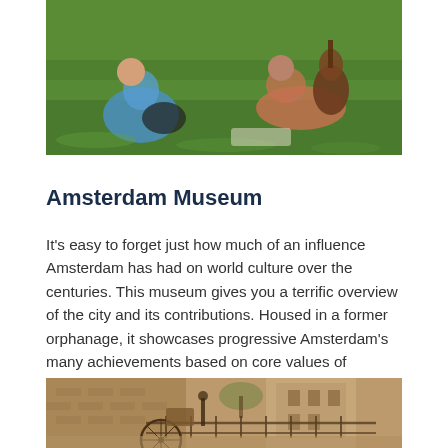[Figure (photo): People relaxing on green grass in a park, one person playing guitar, another sitting in a blue shirt]
Amsterdam Museum
It's easy to forget just how much of an influence Amsterdam has had on world culture over the centuries. This museum gives you a terrific overview of the city and its contributions. Housed in a former orphanage, it showcases progressive Amsterdam's many achievements based on core values of entrepreneurship, free thought, citizenship, and creativity.
[Figure (photo): Sepia-toned vintage photo of an Amsterdam canal street with a bicycle in the foreground and historic brick buildings]